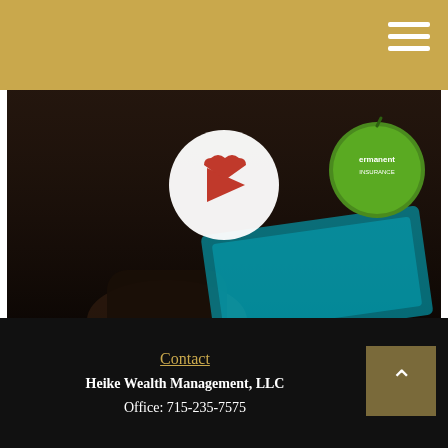[Figure (screenshot): Dark slideshow preview image showing a hand on a tablet with a white play button circle (with red play triangle), a green apple Kaiser Permanente insurance logo label in the upper right, and a cyan-lit tablet screen. Text overlay reads 'START SLIDESHOW' with a slideshow icon.]
Protecting Those Who Matter Most
The importance of life insurance, how it works, and how much coverage you need.
Contact
Heike Wealth Management, LLC
Office: 715-235-7575